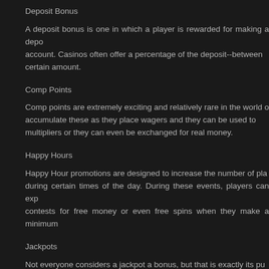Deposit Bonus
A deposit bonus is one in which a player is rewarded for making a deposit into their account. Casinos often offer a percentage of the deposit--between a certain amount.
Comp Points
Comp points are extremely exciting and relatively rare in the world of online casinos. Players accumulate these as they place wagers and they can be used to obtain free spins, wagering multipliers or they can even be exchanged for real money.
Happy Hours
Happy Hour promotions are designed to increase the number of players who play during certain times of the day. During these events, players can expect to find tournaments, contests for free money or even free spins when they make a minimum deposit.
Jackpots
Not everyone considers a jackpot a bonus, but that is exactly its purpose. Players cannot do anything to force this bonus to come to them other than play associated games.